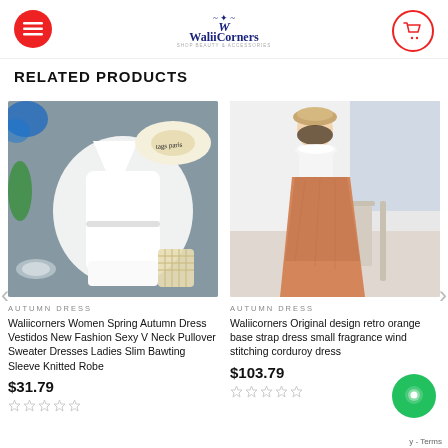WaliiCorners
RELATED PRODUCTS
[Figure (photo): White knit wrap dress with belted waist, laid flat on grey fabric background with accessories including a straw hat and small crochet bag]
AUTUMN DRESS
Waliicorners Women Spring Autumn Dress Vestidos New Fashion Sexy V Neck Pullover Sweater Dresses Ladies Slim Bawting Sleeve Knitted Robe
$31.79
[Figure (photo): Woman wearing retro orange midi skirt with white lace top and beige beret hat, seated on chair holding a white bag, light background]
AUTUMN DRESS
Waliicorners Original design retro orange base strap dress small fragrance wind stitching corduroy dress
$103.79